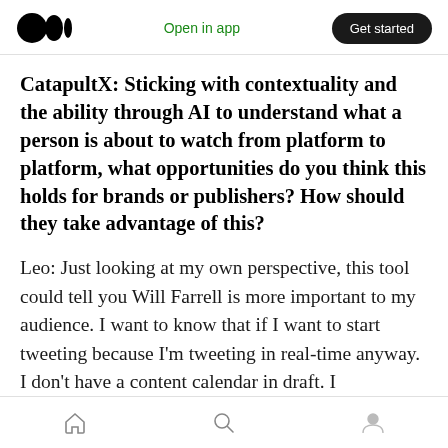Open in app | Get started
CatapultX: Sticking with contextuality and the ability through AI to understand what a person is about to watch from platform to platform, what opportunities do you think this holds for brands or publishers? How should they take advantage of this?
Leo: Just looking at my own perspective, this tool could tell you Will Farrell is more important to my audience. I want to know that if I want to start tweeting because I'm tweeting in real-time anyway. I don't have a content calendar in draft. I
Home | Search | Profile